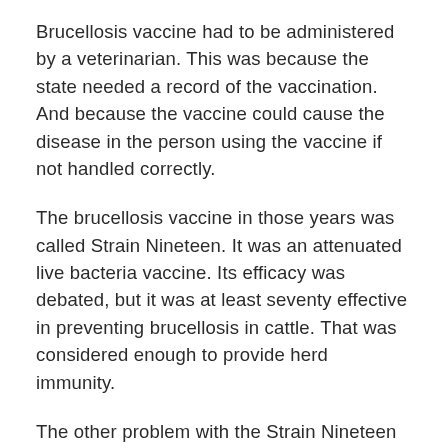Brucellosis vaccine had to be administered by a veterinarian. This was because the state needed a record of the vaccination. And because the vaccine could cause the disease in the person using the vaccine if not handled correctly.
The brucellosis vaccine in those years was called Strain Nineteen. It was an attenuated live bacteria vaccine. Its efficacy was debated, but it was at least seventy effective in preventing brucellosis in cattle. That was considered enough to provide herd immunity.
The other problem with the Strain Nineteen vaccine was that the vaccine could induce disease in man if mishandled. This usually occurred in young veterinarians who were not adequately acquainted